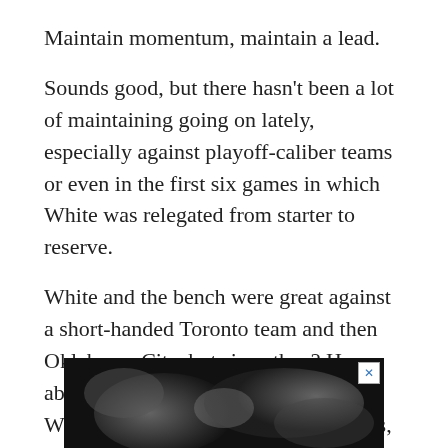Maintain momentum, maintain a lead.
Sounds good, but there hasn't been a lot of maintaining going on lately, especially against playoff-caliber teams or even in the first six games in which White was relegated from starter to reserve.
White and the bench were great against a short-handed Toronto team and then Oklahoma City, but since then? How about a minus-10 in plus/minus for White in the collapse against the Spurs, a minus-1 against Denver and then Detroit, and finally in the beatdown Monday against Utah, a minus-23 for the second-year guard.
[Figure (photo): Black and white photograph, partially visible at bottom of page, appears to show players or figures in motion, with an advertisement close button (X) in the upper right corner.]